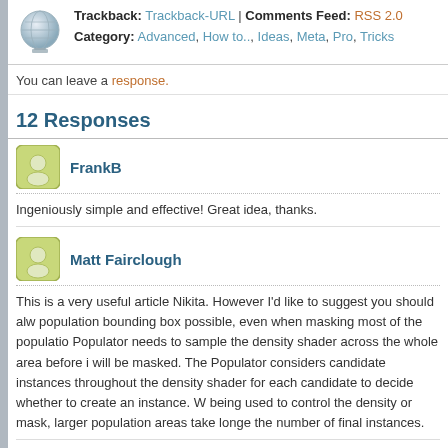Trackback: Trackback-URL | Comments Feed: RSS 2.0 Category: Advanced, How to.., Ideas, Meta, Pro, Tricks
You can leave a response.
12 Responses
FrankB
Ingeniously simple and effective! Great idea, thanks.
Matt Fairclough
This is a very useful article Nikita. However I'd like to suggest you should alw population bounding box possible, even when masking most of the populatio Populator needs to sample the density shader across the whole area before i will be masked. The Populator considers candidate instances throughout the density shader for each candidate to decide whether to create an instance. W being used to control the density or mask, larger population areas take longe the number of final instances.
Nikita
I know, I mentioned it at the end of the article. Ok, that's really a